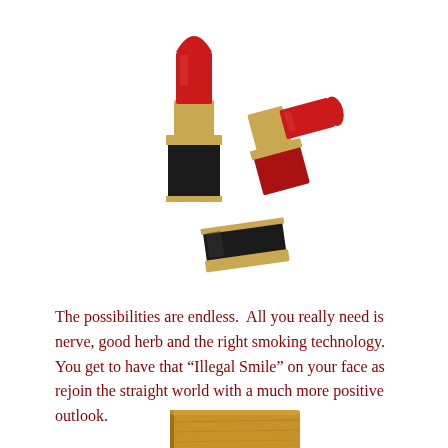[Figure (illustration): Three red and black lipstick items: one upright open lipstick with red bullet extended, one open lipstick lying on its side with red bullet, and one black lipstick cap lying flat. All have gold metallic accents.]
The possibilities are endless.  All you really need is nerve, good herb and the right smoking technology. You get to have that “Illegal Smile” on your face as rejoin the straight world with a much more positive outlook.
[Figure (photo): Partial view of a wooden object, possibly a small wooden pipe or box, shown at the bottom edge of the page.]